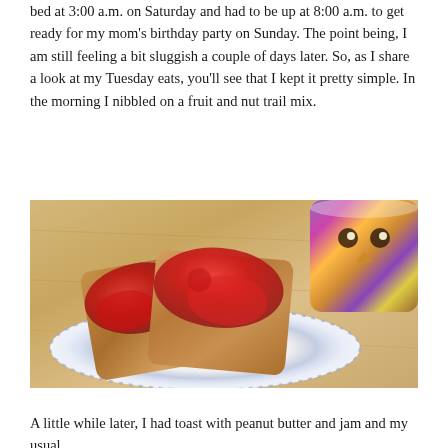bed at 3:00 a.m. on Saturday and had to be up at 8:00 a.m. to get ready for my mom's birthday party on Sunday. The point being, I am still feeling a bit sluggish a couple of days later. So, as I share a look at my Tuesday eats, you'll see that I kept it pretty simple. In the morning I nibbled on a fruit and nut trail mix.
[Figure (photo): Two slices of toast covered in red jam/strawberry preserves on a white plate with blue rim pattern, next to a colorful mug with owl design, on a wooden surface]
A little while later, I had toast with peanut butter and jam and my usual